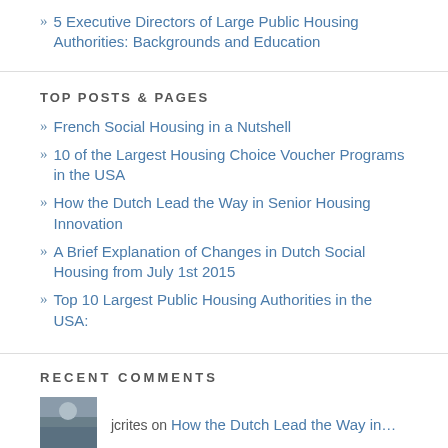5 Executive Directors of Large Public Housing Authorities: Backgrounds and Education
TOP POSTS & PAGES
French Social Housing in a Nutshell
10 of the Largest Housing Choice Voucher Programs in the USA
How the Dutch Lead the Way in Senior Housing Innovation
A Brief Explanation of Changes in Dutch Social Housing from July 1st 2015
Top 10 Largest Public Housing Authorities in the USA:
RECENT COMMENTS
[Figure (photo): Small avatar/profile photo thumbnail]
jcrites on How the Dutch Lead the Way in…